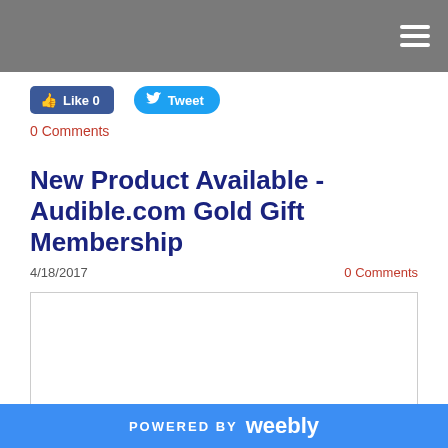Navigation header bar with hamburger menu
[Figure (screenshot): Facebook Like button showing Like 0]
[Figure (screenshot): Twitter Tweet button]
0 Comments
New Product Available - Audible.com Gold Gift Membership
4/18/2017
0 Comments
[Figure (other): Empty white content box with border]
POWERED BY weebly